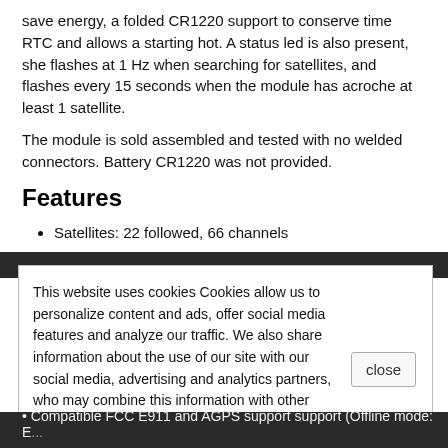save energy, a folded CR1220 support to conserve time RTC and allows a starting hot. A status led is also present, she flashes at 1 Hz when searching for satellites, and flashes every 15 seconds when the module has acroche at least 1 satellite.
The module is sold assembled and tested with no welded connectors. Battery CR1220 was not provided.
Features
Satellites: 22 followed, 66 channels
The Patch Antenna dimension: 15mm x 15mm x 4mm
Actualisatiuon frequency: from 1 to 10 Hz
Precision in position: < 5 meters (like all GPS standard)
This website uses cookies Cookies allow us to personalize content and ads, offer social media features and analyze our traffic. We also share information about the use of our site with our social media, advertising and analytics partners, who may combine this information with other information that you have provided to them or that they have collected through your use of their services. You consent to our cookies if you continue to use our website.
Compatible FCC E911 and AGPS support support (Offline mode: EASYTM/Online)
DGDS/WAAS/EGNOS supported